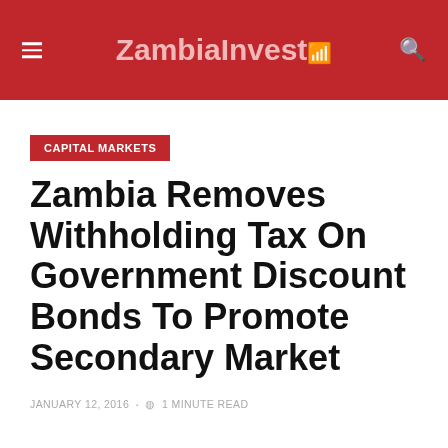ZambiaInvest
CAPITAL MARKETS
Zambia Removes Withholding Tax On Government Discount Bonds To Promote Secondary Market
JANUARY 12, 2016  ·  1 MINUTE READ